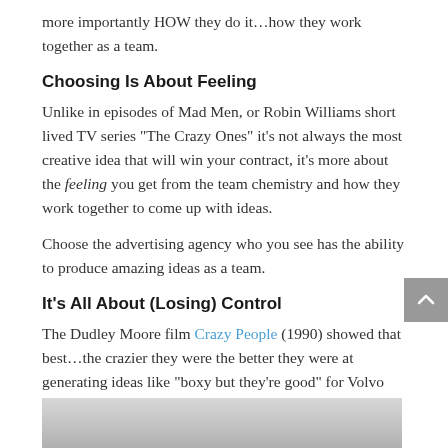more importantly HOW they do it…how they work together as a team.
Choosing Is About Feeling
Unlike in episodes of Mad Men, or Robin Williams short lived TV series “The Crazy Ones” it’s not always the most creative idea that will win your contract, it’s more about the feeling you get from the team chemistry and how they work together to come up with ideas.
Choose the advertising agency who you see has the ability to produce amazing ideas as a team.
It’s All About (Losing) Control
The Dudley Moore film Crazy People (1990) showed that best…the crazier they were the better they were at generating ideas like “boxy but they’re good” for Volvo [video].
[Figure (photo): Bottom portion of a video still or screenshot, partially visible, showing a gray-toned scene.]